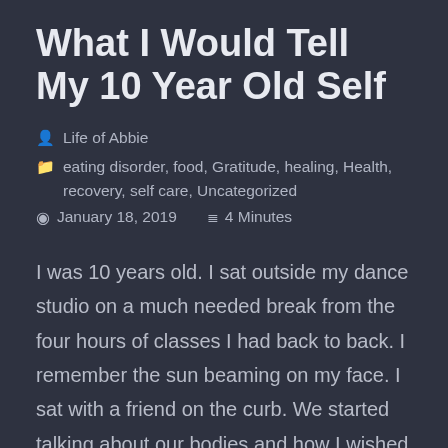What I Would Tell My 10 Year Old Self
Life of Abbie
eating disorder, food, Gratitude, healing, Health, recovery, self care, Uncategorized
January 18, 2019   4 Minutes
I was 10 years old. I sat outside my dance studio on a much needed break from the four hours of classes I had back to back. I remember the sun beaming on my face. I sat with a friend on the curb. We started talking about our bodies and how I wished I was thinner (Reminder: I was 10). I was already inundated with a sense of body